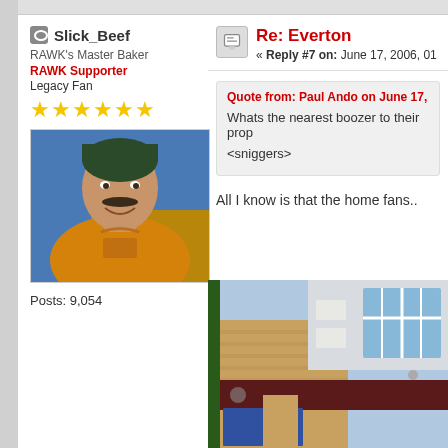Slick_Beef
RAWK's Master Baker
RAWK Supporter
Legacy Fan
[Figure (photo): Avatar photo of a man with a mustache wearing a yellow jersey]
Posts: 9,054
Re: Everton
« Reply #7 on: June 17, 2006, 01
Quote from: Paul Ando on June 17,
Whats the nearest boozer to their prop

<sniggers>
All I know is that the home fans..
[Figure (photo): Photo of a pub building exterior with brick facade, windows, and a dark sign]